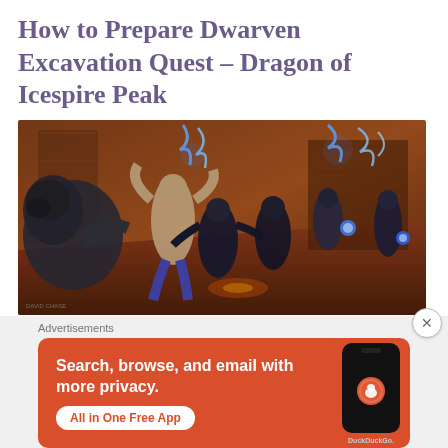How to Prepare Dwarven Excavation Quest – Dragon of Icespire Peak
[Figure (illustration): Fantasy battle scene illustration showing warriors, a large beast/werewolf creature on the left, a shirtless fighter, and magic-wielding characters with blue lightning bolts in a wooden interior setting. Artist signature visible in bottom left corner.]
Advertisements
[Figure (screenshot): DuckDuckGo advertisement banner on orange/red background. Text reads 'Search, browse, and email with more privacy. All in One Free App' with a smartphone mockup showing the DuckDuckGo app logo and 'DuckDuckGo.' text below.]